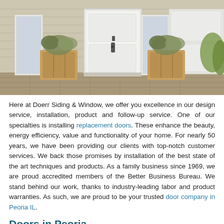[Figure (photo): Exterior photo of a home entrance featuring a white front door with sidelights, tan vinyl siding, two wooden planter boxes with ornamental grasses, and a brick paver walkway.]
Here at Doerr Siding & Window, we offer you excellence in our design service, installation, product and follow-up service. One of our specialties is installing replacement doors. These enhance the beauty, energy efficiency, value and functionality of your home. For nearly 50 years, we have been providing our clients with top-notch customer services. We back those promises by installation of the best state of the art techniques and products. As a family business since 1969, we are proud accredited members of the Better Business Bureau. We stand behind our work, thanks to industry-leading labor and product warranties. As such, we are proud to be your trusted door company in Peoria IL.
Doors in Peoria